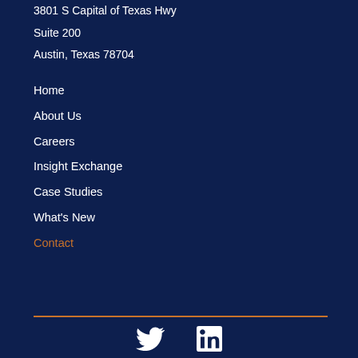3801 S Capital of Texas Hwy
Suite 200
Austin, Texas 78704
Home
About Us
Careers
Insight Exchange
Case Studies
What's New
Contact
[Figure (illustration): Twitter bird icon and LinkedIn icon in white on dark navy background]